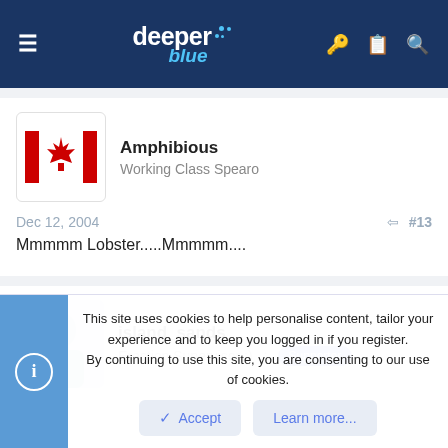deeper blue
Amphibious
Working Class Spearo
Dec 12, 2004
#13
Mmmmm Lobster.....Mmmmm....
island_sands
Erection Supervisor ;)  Supporter
This site uses cookies to help personalise content, tailor your experience and to keep you logged in if you register.
By continuing to use this site, you are consenting to our use of cookies.